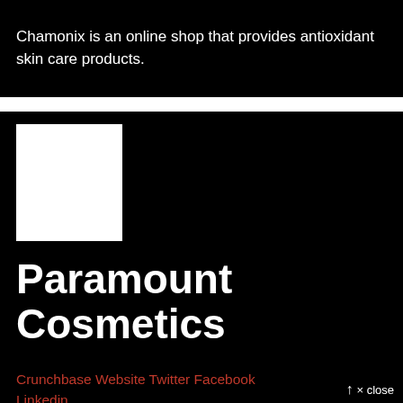Chamonix is an online shop that provides antioxidant skin care products.
[Figure (illustration): White square logo placeholder on black background]
Paramount Cosmetics
Crunchbase Website Twitter Facebook Linkedin
× close